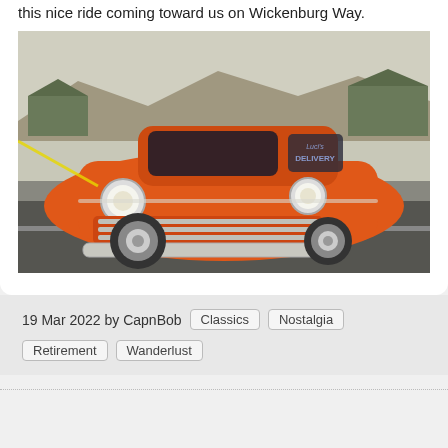this nice ride coming toward us on Wickenburg Way.
[Figure (photo): An orange classic car (vintage panel van/sedan delivery) driving toward the camera on a street, with desert landscape and houses in the background.]
19 Mar 2022 by CapnBob  Classics  Nostalgia  Retirement  Wanderlust